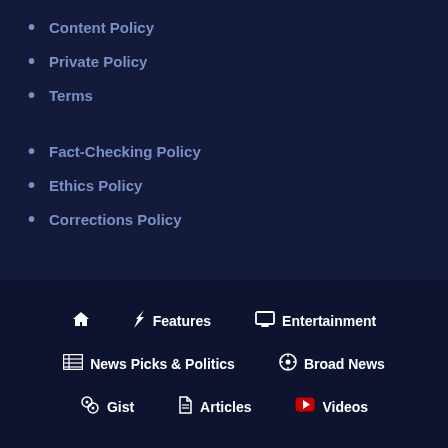Content Policy
Private Policy
Terms
Fact-Checking Policy
Ethics Policy
Corrections Policy
Home | Features | Entertainment | News Picks & Politics | Broad News | Gist | Articles | Videos